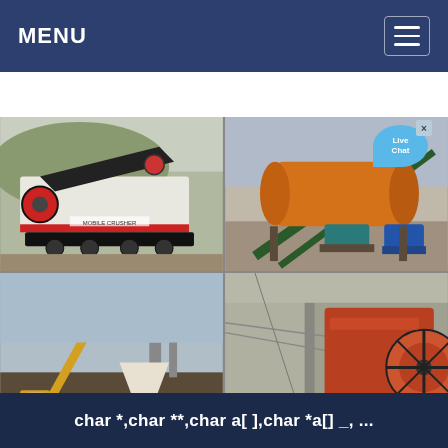MENU
[Figure (photo): Four-panel grid of mining/quarrying heavy equipment photos: top-left shows a mobile jaw crusher on a trailer; top-right shows an orange cylindrical ball mill with motor and green steel frame outdoors; bottom-left shows a construction crane and cone crusher in a quarry field; bottom-right shows a large jaw crusher installed in a concrete structure.]
char *,char **,char a[ ],char *a[] _, ...